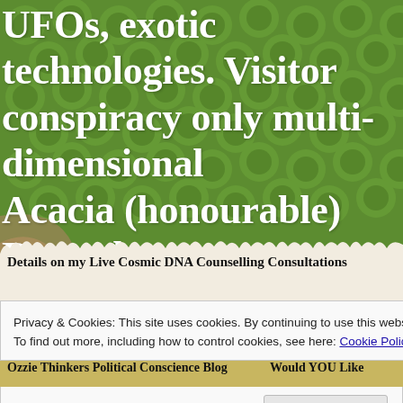UFOs, exotic technologies. Visitor conspiracy only multi-dimensional Acacia (honourable) Records
[Figure (illustration): Green patterned background with circular/floral motifs and a decorative red-pink curved line overlay. Torn paper strip effect below.]
Details on my Live Cosmic DNA Counselling Consultations
Trippys Magical Video Adaptations of my Articles
Exopolit...
Ozzie Thinkers Political Conscience Blog
Would YOU Like
Privacy & Cookies: This site uses cookies. By continuing to use this website, you agree to their use.
To find out more, including how to control cookies, see here: Cookie Policy
Close and accept